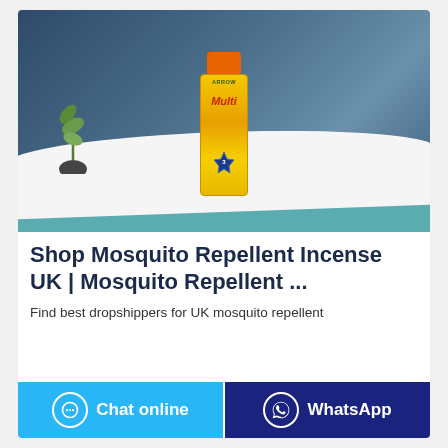[Figure (photo): A yellow mosquito repellent spray can with orange cap, branded with 'Multi', sitting on a white cloth on a teal surface, with a dark blue background and a plant decoration behind it.]
Shop Mosquito Repellent Incense UK | Mosquito Repellent ...
Find best dropshippers for UK mosquito repellent